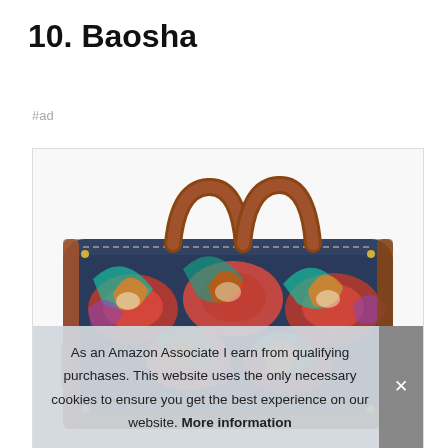10. Baosha
#ad
[Figure (photo): A colorful paisley-patterned duffle/weekender bag with brown leather handles, photographed from the front against a white background.]
As an Amazon Associate I earn from qualifying purchases. This website uses the only necessary cookies to ensure you get the best experience on our website. More information